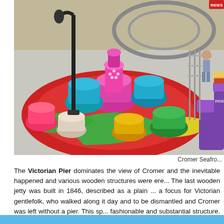[Figure (photo): Aerial view of a colourful teacup fairground ride at Cromer Seafront, with a black lamp post visible and people in the background. Various brightly coloured teacup cars in pink, teal, yellow, green, and purple are arranged on a red and green rotating platform.]
Cromer Seafro...
The Victorian Pier dominates the view of Cromer and the inevitable happened and various wooden structures were ere... The last wooden jetty was built in 1846, described as a plain ... a focus for Victorian gentlefolk, who walked along it day and ... to be dismantled and Cromer was left without a pier. This sp... fashionable and substantial structure. Work commenced on... following year, having cost £17,000 to construct. This structu... and in 1993; it is a constant maintenance battle against the... allowed on the pier, but not in the Pavilion Theatre or Lifeboat...